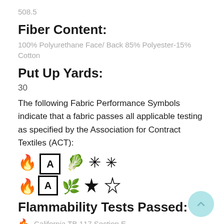508.5
Fiber Content:
100% Polyurethane Face/ Back 85% Polyester-15% Cotton
Put Up Yards:
30
The following Fabric Performance Symbols indicate that a fabric passes all applicable testing as specified by the Association for Contract Textiles (ACT):
[Figure (infographic): Five ACT fabric performance symbols: flame icon, letter A in box, leaf/drop icon, starburst icon, snowflake-star icon]
Flammability Tests Passed:
California TB 117 Section E
FMVSS 302
IMO A.652 (16) 8.2